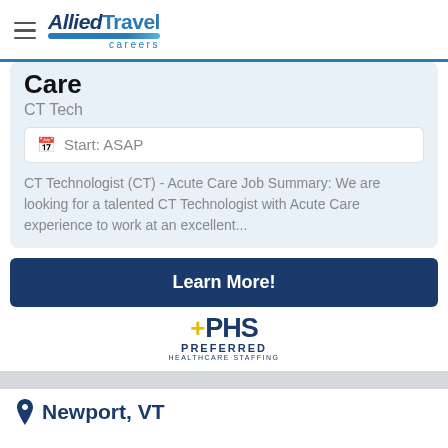[Figure (logo): Allied Travel Careers logo with hamburger menu icon on the left]
Care
CT Tech
Start: ASAP
CT Technologist (CT) - Acute Care Job Summary: We are looking for a talented CT Technologist with Acute Care experience to work at an excellent...
Learn More!
[Figure (logo): PHS Preferred Healthcare Staffing logo]
Newport, VT